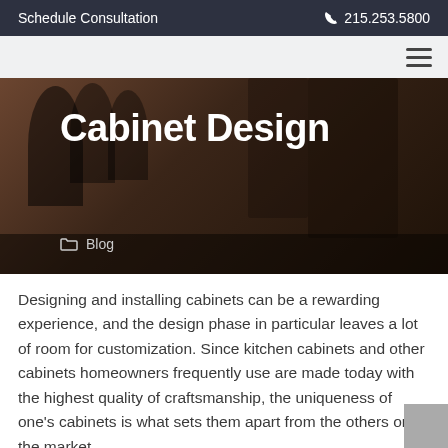Schedule Consultation   215.253.5800
[Figure (photo): Dark interior photo showing furniture/stools as background for Cabinet Design hero section]
Cabinet Design
Blog
Designing and installing cabinets can be a rewarding experience, and the design phase in particular leaves a lot of room for customization. Since kitchen cabinets and other cabinets homeowners frequently use are made today with the highest quality of craftsmanship, the uniqueness of one's cabinets is what sets them apart from the others on the market.